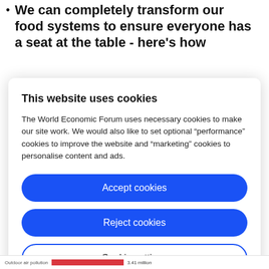We can completely transform our food systems to ensure everyone has a seat at the table - here's how
This website uses cookies
The World Economic Forum uses necessary cookies to make our site work. We would also like to set optional “performance” cookies to improve the website and “marketing” cookies to personalise content and ads.
Accept cookies
Reject cookies
Cookie settings
Outdoor air pollution 3.41 million